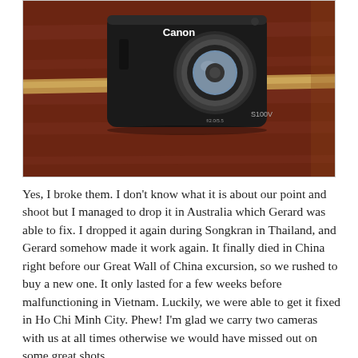[Figure (photo): A black Canon S100V point-and-shoot camera lying on a dark reddish-brown wooden surface with decorative inlay strips.]
Yes, I broke them. I don't know what it is about our point and shoot but I managed to drop it in Australia which Gerard was able to fix. I dropped it again during Songkran in Thailand, and Gerard somehow made it work again. It finally died in China right before our Great Wall of China excursion, so we rushed to buy a new one. It only lasted for a few weeks before malfunctioning in Vietnam. Luckily, we were able to get it fixed in Ho Chi Minh City. Phew! I'm glad we carry two cameras with us at all times otherwise we would have missed out on some great shots.